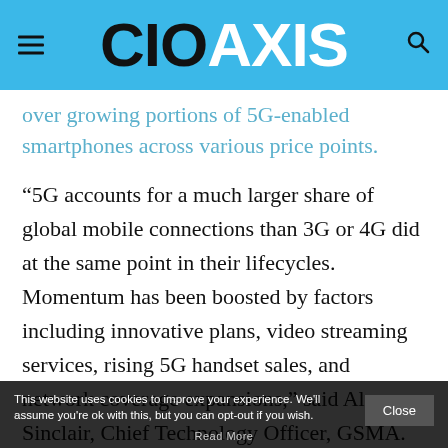CIO AXIS
over growing portions of 5G-enabled smartphones across various price points.
“5G accounts for a much larger share of global mobile connections than 3G or 4G did at the same point in their lifecycles. Momentum has been boosted by factors including innovative plans, video streaming services, rising 5G handset sales, and network coverage expansions,” said Alex Sinclair, Chief Technology Officer, GSMA. “In addition, the launch of 5G services in Latin America and Sub-Saharan Africa over the last year means that the technology is now available in
This website uses cookies to improve your experience. We'll assume you're ok with this, but you can opt-out if you wish. Close Read More